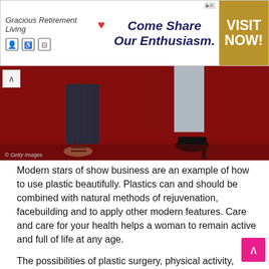[Figure (other): Advertisement banner for Gracious Retirement Living with heart logo, icons, text 'Come Share Our Enthusiasm.' and gold VISIT NOW! button]
[Figure (photo): Bottom portion of two people's legs and feet standing on a red carpet. One person wearing open-toed sandals with dark trousers, the other wearing black high heels with light-colored tights. © Getty Images watermark.]
Modern stars of show business are an example of how to use plastic beautifully. Plastics can and should be combined with natural methods of rejuvenation, facebuilding and to apply other modern features. Care and care for your health helps a woman to remain active and full of life at any age.
The possibilities of plastic surgery, physical activity, interest in life, as well as natural methods of rejuvenation, the use of organic products and water in sufficient quantities, as well as a full Arsenal of cosmetology can achieve gorgeous results to look young over 40 years.
To have a beautiful appearance you